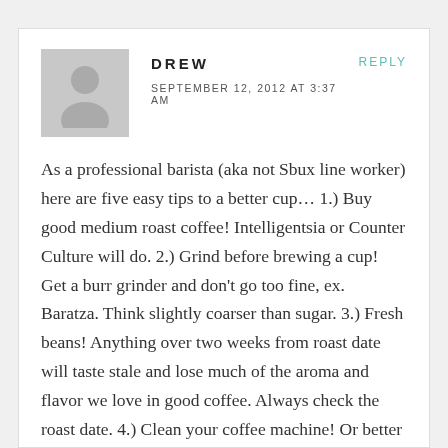[Figure (illustration): Grey avatar/placeholder image of a person silhouette]
DREW
SEPTEMBER 12, 2012 AT 3:37 AM
REPLY
As a professional barista (aka not Sbux line worker) here are five easy tips to a better cup… 1.) Buy good medium roast coffee! Intelligentsia or Counter Culture will do. 2.) Grind before brewing a cup! Get a burr grinder and don't go too fine, ex. Baratza. Think slightly coarser than sugar. 3.) Fresh beans! Anything over two weeks from roast date will taste stale and lose much of the aroma and flavor we love in good coffee. Always check the roast date. 4.) Clean your coffee machine! Or better yet, buy a Chemex